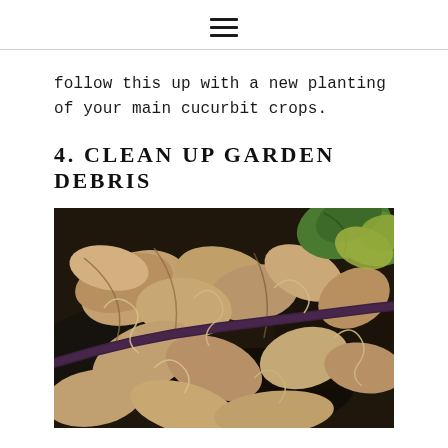≡
follow this up with a new planting of your main cucurbit crops.
4. CLEAN UP GARDEN DEBRIS
[Figure (photo): Close-up photo of dried, dead plant leaves and curly tendrils on dark soil, with a drip irrigation hose visible. Some green leaves visible in upper right corner.]